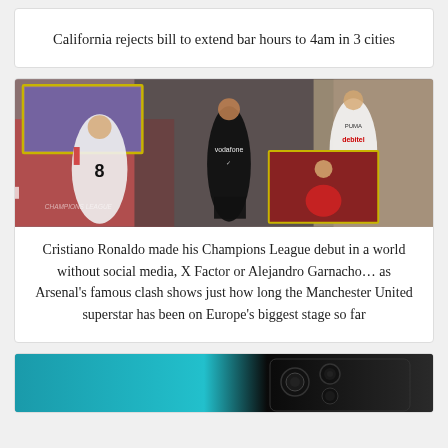California rejects bill to extend bar hours to 4am in 3 cities
[Figure (photo): Soccer/football action photo showing players on a pitch, including a player in a black Manchester United kit with Vodafone sponsor, a player with number 8 in white, and a player in a white kit with debitel sponsor. A smaller inset photo shows a younger player in a red Manchester United kit.]
Cristiano Ronaldo made his Champions League debut in a world without social media, X Factor or Alejandro Garnacho… as Arsenal's famous clash shows just how long the Manchester United superstar has been on Europe's biggest stage so far
[Figure (photo): Partial view of what appears to be a smartphone camera module on a dark background.]